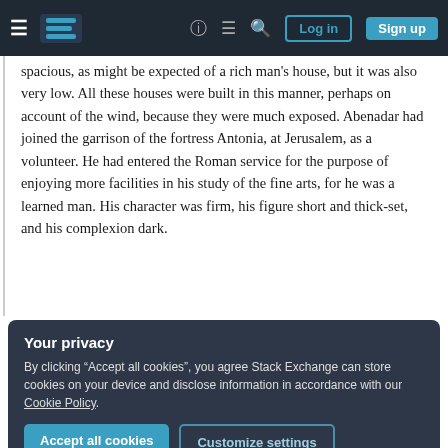Stack Exchange navigation bar with hamburger menu, logo, help, chat, search icons, Log in and Sign up buttons
spacious, as might be expected of a rich man's house, but it was also very low. All these houses were built in this manner, perhaps on account of the wind, because they were much exposed. Abenadar had joined the garrison of the fortress Antonia, at Jerusalem, as a volunteer. He had entered the Roman service for the purpose of enjoying more facilities in his study of the fine arts, for he was a learned man. His character was firm, his figure short and thick-set, and his complexion dark.
Your privacy
By clicking “Accept all cookies”, you agree Stack Exchange can store cookies on your device and disclose information in accordance with our Cookie Policy.
his person in secret veneration. He was